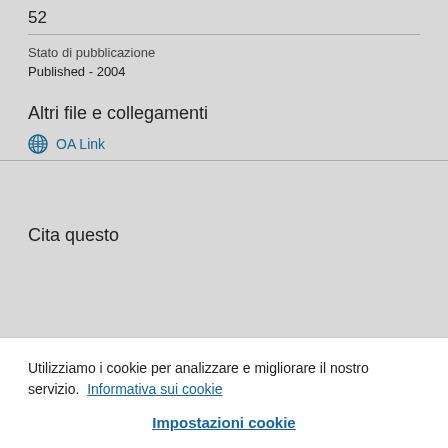52
Stato di pubblicazione
Published - 2004
Altri file e collegamenti
OA Link
Cita questo
Utilizziamo i cookie per analizzare e migliorare il nostro servizio. Informativa sui cookie
Impostazioni cookie